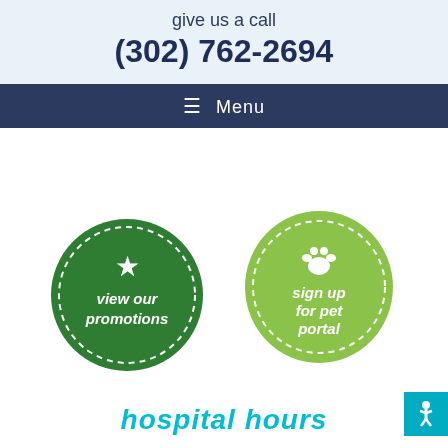give us a call
(302) 762-2694
≡ Menu
[Figure (illustration): Two circular badge-style buttons with dashed borders. Left: dark green circle with white star icon and text 'view our promotions'. Right: light green circle with white paw print icon and text 'sign up for pet portal'.]
hospital hours